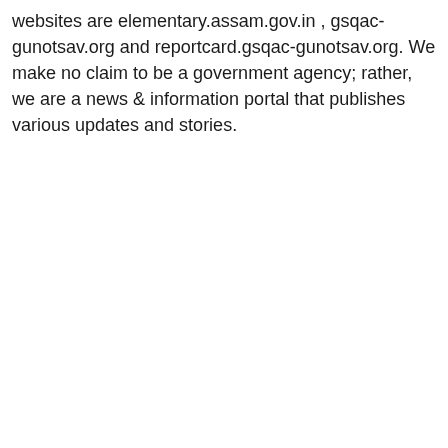websites are elementary.assam.gov.in , gsqac-gunotsav.org and reportcard.gsqac-gunotsav.org. We make no claim to be a government agency; rather, we are a news & information portal that publishes various updates and stories.